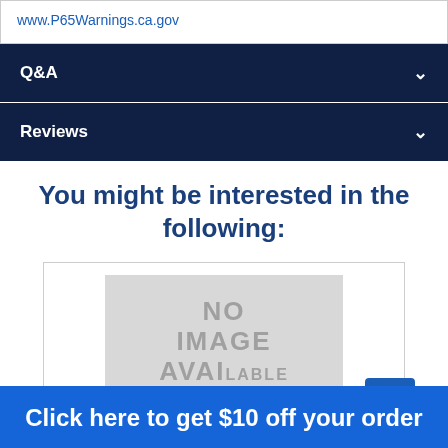www.P65Warnings.ca.gov
Q&A
Reviews
You might be interested in the following:
[Figure (other): Product placeholder image with NO IMAGE AVAILABLE text in gray]
Click here to get $10 off your order